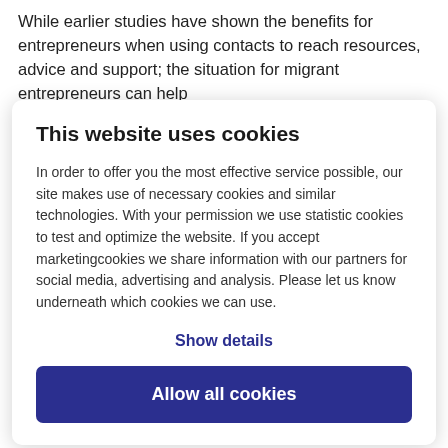While earlier studies have shown the benefits for entrepreneurs when using contacts to reach resources, advice and support; the situation for migrant entrepreneurs can help
This website uses cookies
In order to offer you the most effective service possible, our site makes use of necessary cookies and similar technologies. With your permission we use statistic cookies to test and optimize the website. If you accept marketingcookies we share information with our partners for social media, advertising and analysis. Please let us know underneath which cookies we can use.
Show details
Allow all cookies
contribute largely to the choice of the sector and the product. Contacts with strong relationships help migrant entrepreneurs to find their way in a new location (Fullin and Reyneri, 2011; Ambrosini, 2013; Toruńczyk-Ruiz, 2014).